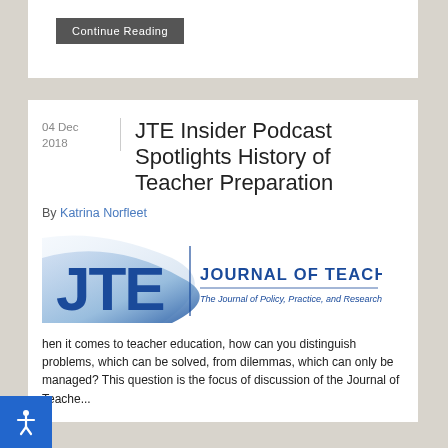Continue Reading
JTE Insider Podcast Spotlights History of Teacher Preparation
By Katrina Norfleet
[Figure (logo): Journal of Teacher Education logo — JTE lettering with swoosh graphic, subtitle: The Journal of Policy, Practice, and Research in Teacher Education]
When it comes to teacher education, how can you distinguish problems, which can be solved, from dilemmas, which can only be managed? This question is the focus of discussion of the Journal of Teacher...